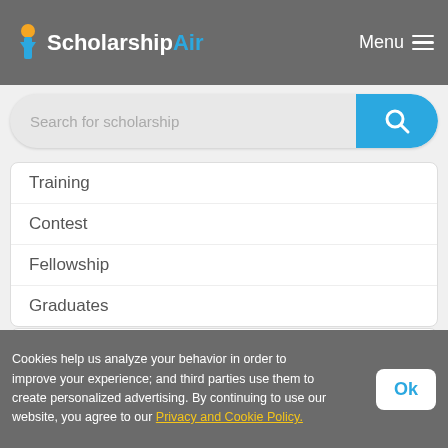ScholarshipAir — Menu
[Figure (screenshot): Search bar with placeholder text 'Search for scholarship' and a blue search button with magnifying glass icon]
Training
Contest
Fellowship
Graduates
Scholarships by Country
Scholarships in Nigeria
Scholarships in United Kingdom
Cookies help us analyze your behavior in order to improve your experience; and third parties use them to create personalized advertising. By continuing to use our website, you agree to our Privacy and Cookie Policy.